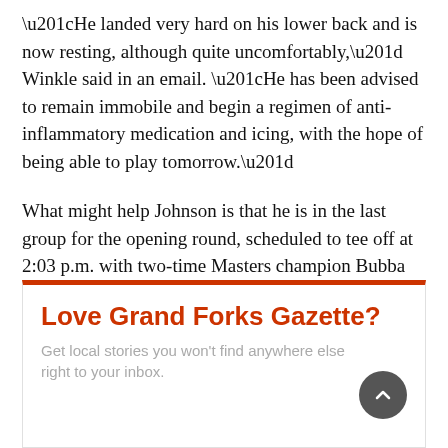“He landed very hard on his lower back and is now resting, although quite uncomfortably,” Winkle said in an email. “He has been advised to remain immobile and begin a regimen of anti-inflammatory medication and icing, with the hope of being able to play tomorrow.”
What might help Johnson is that he is in the last group for the opening round, scheduled to tee off at 2:03 p.m. with two-time Masters champion Bubba Watson and PGA champion Jimmy Walker.
Love Grand Forks Gazette?
Get local stories you won’t find anywhere else right to your inbox.